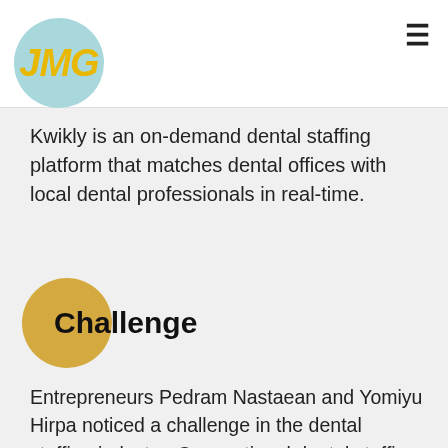JMG
Kwikly is an on-demand dental staffing platform that matches dental offices with local dental professionals in real-time.
Challenge
Entrepreneurs Pedram Nastaean and Yomiyu Hirpa noticed a challenge in the dental staffing industry: Conventional dental staffing agencies were highly fragmented and hadn't evolved with technology.